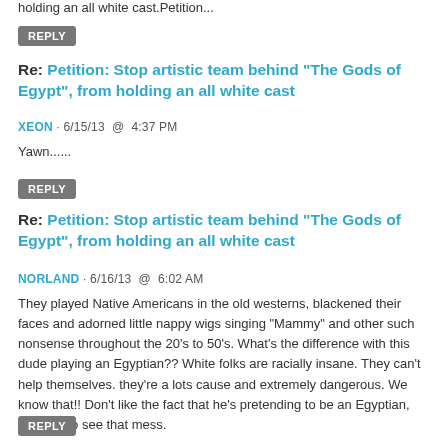holding an all white cast.Petition...
REPLY
Re: Petition: Stop artistic team behind "The Gods of Egypt", from holding an all white cast
XEON · 6/15/13  @  4:37 PM
Yawn......
REPLY
Re: Petition: Stop artistic team behind "The Gods of Egypt", from holding an all white cast
NORLAND · 6/16/13  @  6:02 AM
They played Native Americans in the old westerns, blackened their faces and adorned little nappy wigs singing "Mammy" and other such nonsense throughout the 20's to 50's. What's the difference with this dude playing an Egyptian?? White folks are racially insane. They can't help themselves. they're a lots cause and extremely dangerous. We know that!! Don't like the fact that he's pretending to be an Egyptian, don't go to see that mess.
REPLY